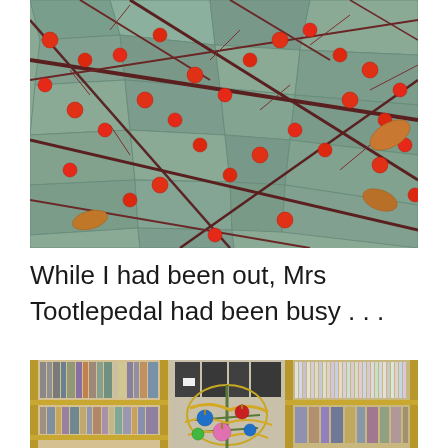[Figure (photo): Bare branches with red/orange berries against a grey stone wall background]
While I had been out, Mrs Tootlepedal had been busy . . .
[Figure (photo): Bookshelves filled with books and CDs, with a small Christmas tree decorated with coloured baubles in the centre]